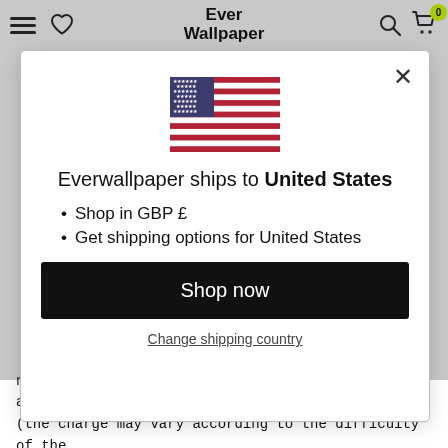Ever Wallpaper
[Figure (screenshot): Modal dialog on Ever Wallpaper website showing US flag, shipping info to United States, list items, Shop now button, and Change shipping country link]
Everwallpaper ships to United States
Shop in GBP £
Get shipping options for United States
Shop now
Change shipping country
need. An extra charge for one single wallpaper is applied (the charge may vary according to the difficulty of the